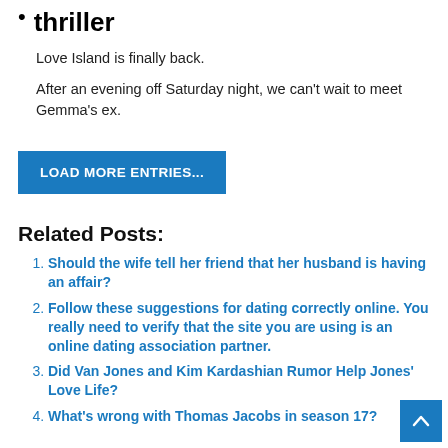thriller
Love Island is finally back.
After an evening off Saturday night, we can't wait to meet Gemma's ex.
LOAD MORE ENTRIES...
Related Posts:
Should the wife tell her friend that her husband is having an affair?
Follow these suggestions for dating correctly online. You really need to verify that the site you are using is an online dating association partner.
Did Van Jones and Kim Kardashian Rumor Help Jones' Love Life?
What's wrong with Thomas Jacobs in season 17?